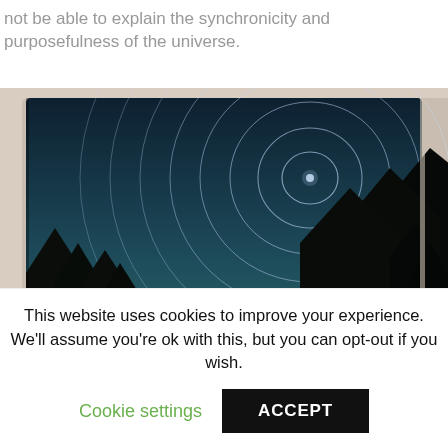not be able to explain the synchronicity and purposefulness of the universe.
[Figure (photo): A photograph of an open book showing a long-exposure night sky star trails photo — concentric circular star trails above silhouetted pine trees against a dark blue sky. The book is resting on a light beige/tan surface.]
This website uses cookies to improve your experience. We'll assume you're ok with this, but you can opt-out if you wish.
Cookie settings   ACCEPT